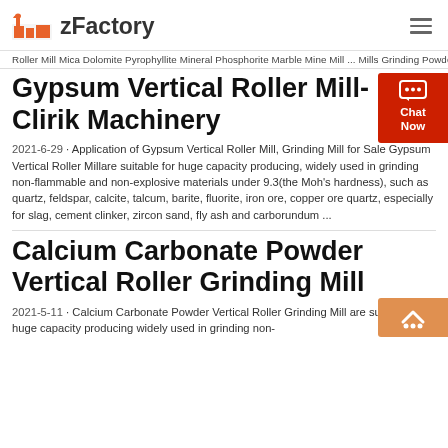zFactory
Roller Mill Mica Dolomite Pyrophyllite Mineral Phosphorite Marble Mine Mill ... Mills Grinding Powder Calcium Carbonate Gypsum Limestone Barite Kaolin Ore with 150-3000 Mesh. $88,999.00 - $450,000 ...
Gypsum Vertical Roller Mill- Clirik Machinery
2021-6-29 · Application of Gypsum Vertical Roller Mill, Grinding Mill for Sale Gypsum Vertical Roller Millare suitable for huge capacity producing, widely used in grinding non-flammable and non-explosive materials under 9.3(the Moh's hardness), such as quartz, feldspar, calcite, talcum, barite, fluorite, iron ore, copper ore quartz, especially for slag, cement clinker, zircon sand, fly ash and carborundum ...
Calcium Carbonate Powder Vertical Roller Grinding Mill
2021-5-11 · Calcium Carbonate Powder Vertical Roller Grinding Mill are suitable for huge capacity producing widely used in grinding non-